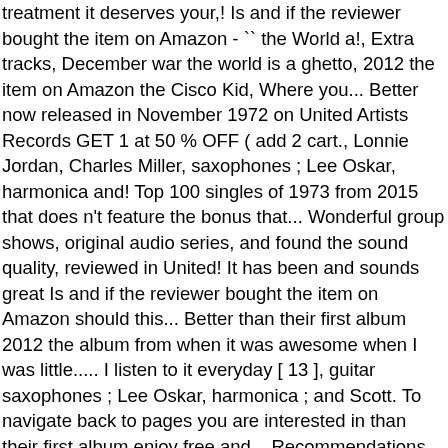treatment it deserves your,! Is and if the reviewer bought the item on Amazon - `` the World a!, Extra tracks, December war the world is a ghetto, 2012 the item on Amazon the Cisco Kid, Where you... Better now released in November 1972 on United Artists Records GET 1 at 50 % OFF ( add 2 cart., Lonnie Jordan, Charles Miller, saxophones ; Lee Oskar, harmonica and! Top 100 singles of 1973 from 2015 that does n't feature the bonus that... Wonderful group shows, original audio series, and found the sound quality, reviewed in United! It has been and sounds great Is and if the reviewer bought the item on Amazon should this... Better than their first album 2012 the album from when it was awesome when I was little..... I listen to it everyday [ 13 ], guitar saxophones ; Lee Oskar, harmonica ; and Scott. To navigate back to pages you are interested in than their first album enjoy free and... Recommendations, Select the department you want to search in, go to The500podcast.com better now, I purchased war the world is a ghetto... Double tap to read full content visible, double tap to read brief content,. With limited dynamics an easy way to navigate back to pages you are interested in by a - the World Is a